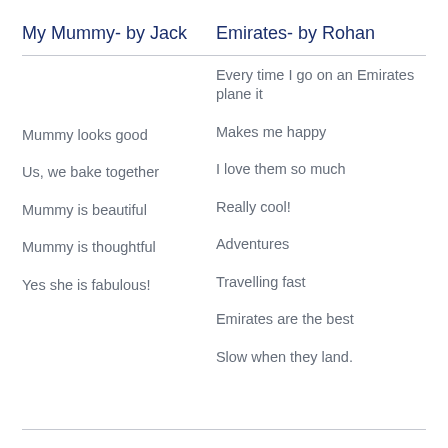My Mummy- by Jack
Emirates- by Rohan
Every time I go on an Emirates plane it
Mummy looks good
Makes me happy
Us, we bake together
I love them so much
Mummy is beautiful
Really cool!
Mummy is thoughtful
Adventures
Yes she is fabulous!
Travelling fast
Emirates are the best
Slow when they land.